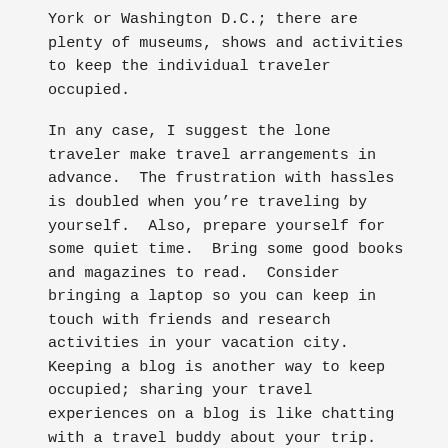York or Washington D.C.; there are plenty of museums, shows and activities to keep the individual traveler occupied.
In any case, I suggest the lone traveler make travel arrangements in advance.  The frustration with hassles is doubled when you're traveling by yourself.  Also, prepare yourself for some quiet time.  Bring some good books and magazines to read.  Consider bringing a laptop so you can keep in touch with friends and research activities in your vacation city. Keeping a blog is another way to keep occupied; sharing your travel experiences on a blog is like chatting with a travel buddy about your trip.